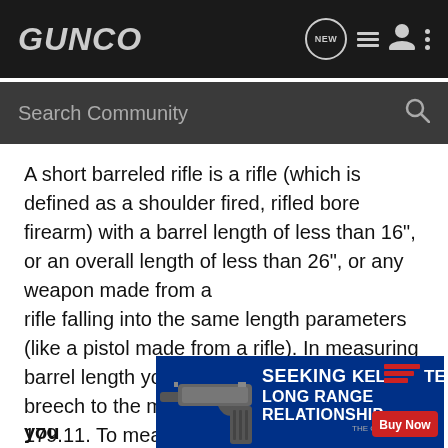GUNCO
Search Community
A short barreled rifle is a rifle (which is defined as a shoulder fired, rifled bore firearm) with a barrel length of less than 16", or an overall length of less than 26", or any weapon made from a rifle falling into the same length parameters (like a pistol made from a rifle). In measuring barrel length you do it from the closed breech to the muzzle, see 27 CFR sec. 179.11. To measure overall length do so along, "the distance between the extreme ends of the weapon measured along a line parallel to the center line of the bore... pon you
[Figure (screenshot): Kel-Tec CP33 pistol advertisement banner with text SEEKING LONG RANGE RELATIONSHIP, KelTec logo with red stripes, and Buy Now button]